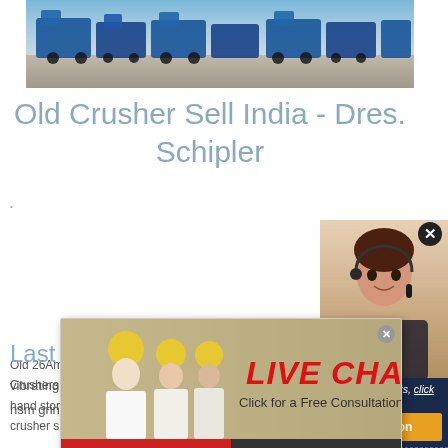[Figure (photo): Industrial crusher machines lined up at a mining/quarry site, blue machinery against a grey dusty ground]
Old Crusher Sell India - Dres. Schipler
Old 26Am... Crushers In... hand stone... crusher s...
[Figure (screenshot): Live chat popup overlay with workers in hard hats, LIVE CHAT text in red, 'Click for a Free Consultation' text, Chat now (red) and Chat later (dark) buttons, and CHAT ONLINE button]
[Figure (photo): Female customer service agent with headset on right sidebar]
ave any requests, click here.
Quotation
Enquiry
limingjlmofen@sina.com
Last News
vibrating screen machine south africa
hsm grinding machine gold mining ball grind